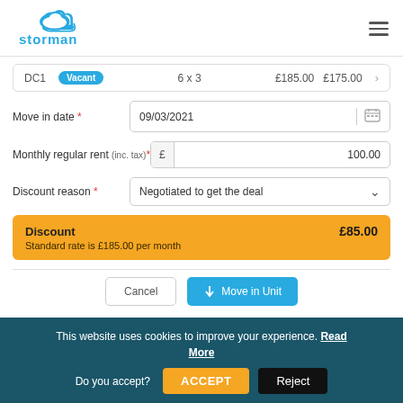Storman logo and hamburger menu
| Unit | Status | Size | Price1 | Price2 |
| --- | --- | --- | --- | --- |
| DC1 | Vacant | 6 x 3 | £185.00 | £175.00 |
Move in date * 09/03/2021
Monthly regular rent (inc. tax)* £ 100.00
Discount reason * Negotiated to get the deal
Discount £85.00 Standard rate is £185.00 per month
Cancel ↓ Move in Unit
This website uses cookies to improve your experience. Read More Do you accept? ACCEPT Reject